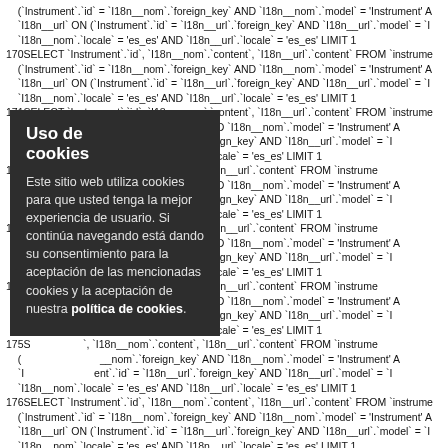SQL query log lines 170-176 with SELECT statements on Instrument table joining I18n_nom and I18n_url with locale = es_es conditions and LIMIT 1
[Figure (screenshot): Cookie consent overlay popup in Spanish on dark background reading 'Uso de cookies' with body text about cookie usage and a link to 'política de cookies']